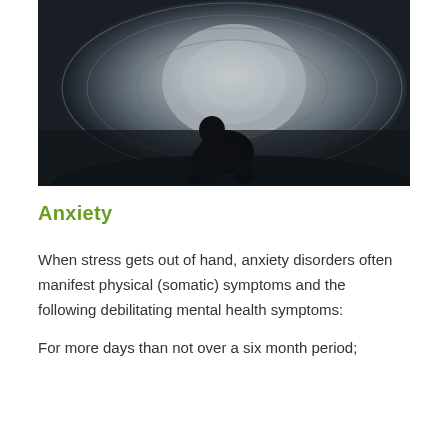[Figure (photo): A silhouetted figure sitting hunched over with knees up inside a circular tunnel or pipe, with light glowing behind them creating a concentric ring pattern. The image conveys isolation and stress/anxiety.]
Anxiety
When stress gets out of hand, anxiety disorders often manifest physical (somatic) symptoms and the following debilitating mental health symptoms:
For more days than not over a six month period;